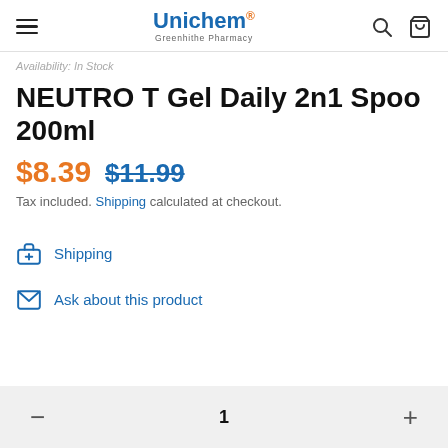Unichem Greenhithe Pharmacy
Availability: In Stock
NEUTRO T Gel Daily 2n1 Spoo 200ml
$8.39  $11.99
Tax included. Shipping calculated at checkout.
Shipping
Ask about this product
1